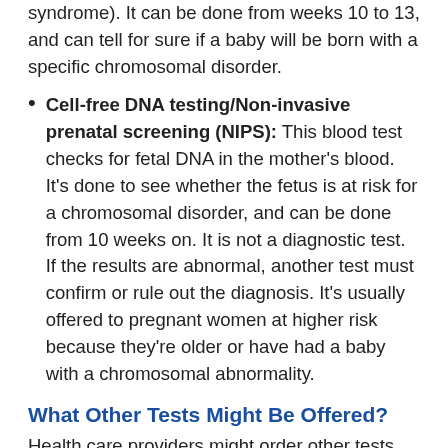syndrome). It can be done from weeks 10 to 13, and can tell for sure if a baby will be born with a specific chromosomal disorder.
Cell-free DNA testing/Non-invasive prenatal screening (NIPS): This blood test checks for fetal DNA in the mother's blood. It's done to see whether the fetus is at risk for a chromosomal disorder, and can be done from 10 weeks on. It is not a diagnostic test. If the results are abnormal, another test must confirm or rule out the diagnosis. It's usually offered to pregnant women at higher risk because they're older or have had a baby with a chromosomal abnormality.
What Other Tests Might Be Offered?
Health care providers might order other tests during a woman's pregnancy based on such things as her (and